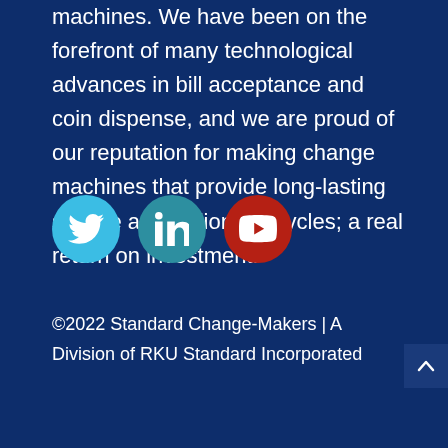machines. We have been on the forefront of many technological advances in bill acceptance and coin dispense, and we are proud of our reputation for making change machines that provide long-lasting service and millions of cycles; a real return on investment.
[Figure (infographic): Three social media icon buttons: Twitter (light blue circle), LinkedIn (teal circle), YouTube (red circle)]
©2022 Standard Change-Makers | A Division of RKU Standard Incorporated